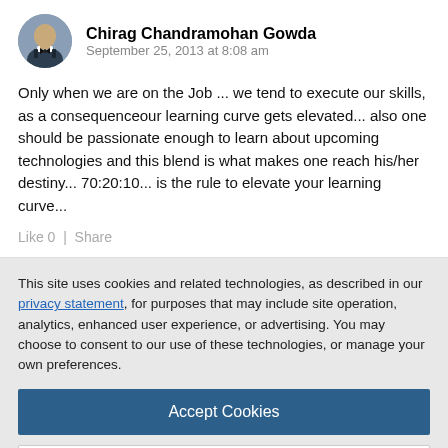Chirag Chandramohan Gowda
September 25, 2013 at 8:08 am
Only when we are on the Job ... we tend to execute our skills, as a consequenceour learning curve gets elevated... also one should be passionate enough to learn about upcoming technologies and this blend is what makes one reach his/her destiny... 70:20:10... is the rule to elevate your learning curve...
Like 0  |  Share
This site uses cookies and related technologies, as described in our privacy statement, for purposes that may include site operation, analytics, enhanced user experience, or advertising. You may choose to consent to our use of these technologies, or manage your own preferences.
Accept Cookies
More Information
Privacy Policy | Powered by: TrustArc
and place by using eLearning, those activities are still within the '10'